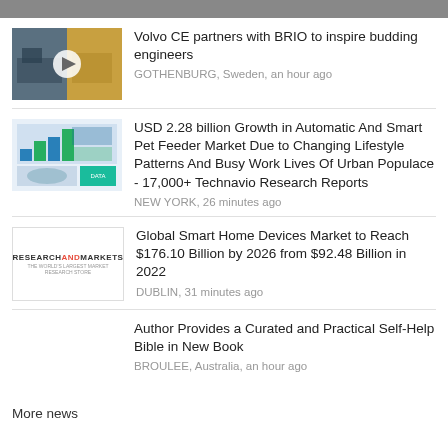[Figure (screenshot): Top gray bar banner]
Volvo CE partners with BRIO to inspire budding engineers
GOTHENBURG, Sweden, an hour ago
USD 2.28 billion Growth in Automatic And Smart Pet Feeder Market Due to Changing Lifestyle Patterns And Busy Work Lives Of Urban Populace - 17,000+ Technavio Research Reports
NEW YORK, 26 minutes ago
Global Smart Home Devices Market to Reach $176.10 Billion by 2026 from $92.48 Billion in 2022
DUBLIN, 31 minutes ago
Author Provides a Curated and Practical Self-Help Bible in New Book
BROULEE, Australia, an hour ago
More news